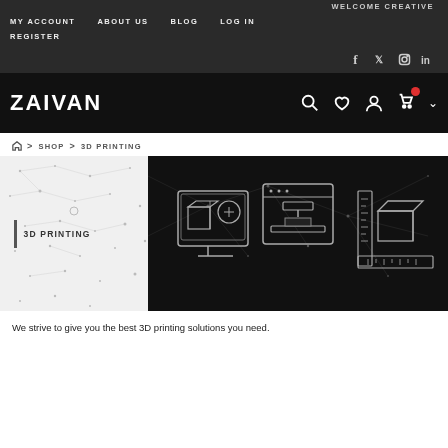WELCOME CREATIVE
MY ACCOUNT
ABOUT US
BLOG
LOG IN
REGISTER
[Figure (logo): ZAIVAN logo in white text on black background with search, heart, user, and shopping bag icons]
Home > SHOP > 3D PRINTING
[Figure (illustration): 3D Printing category banner with dark background and network/constellation pattern on left side showing '3D PRINTING' label, and dark image on right showing 3D printing icons: 3D model software, 3D printer, and measurement/box icon]
We strive to give you the best 3D printing solutions you need.